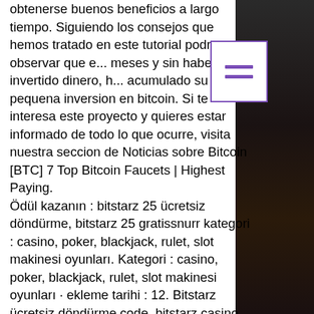obtenerse buenos beneficios a largo tiempo. Siguiendo los consejos que hemos tratado en este tutorial podra observar que e... meses y sin haber invertido dinero, h... acumulado su pequena inversion en bitcoin. Si te interesa este proyecto y quieres estar informado de todo lo que ocurre, visita nuestra seccion de Noticias sobre Bitcoin [BTC] 7 Top Bitcoin Faucets | Highest Paying.
Ödül kazanın : bitstarz 25 ücretsiz döndürme, bitstarz 25 gratissnurr kategori : casino, poker, blackjack, rulet, slot makinesi oyunları. Kategori : casino, poker, blackjack, rulet, slot makinesi oyunları · ekleme tarihi : 12. Bitstarz ücretsiz döndürme code, bitstarz casino 25 freispiele. You can earn as much as $10,900 in btc every month by way of its referral contest. Crazy slots club casino'da 25 bedava dönüş - online casino bonus. Sol casino 2020: 40 para yatırmadan döndürme (kod) 1xbet mobil indir. Kategori : casino,